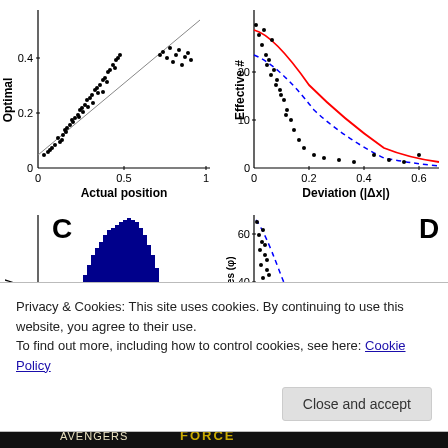[Figure (scatter-plot): Optimal vs Actual position]
[Figure (scatter-plot): Effective # vs Deviation]
[Figure (histogram): Probability histogram (C)]
[Figure (scatter-plot): Effective # of wires vs deviation (D)]
Privacy & Cookies: This site uses cookies. By continuing to use this website, you agree to their use.
To find out more, including how to control cookies, see here: Cookie Policy